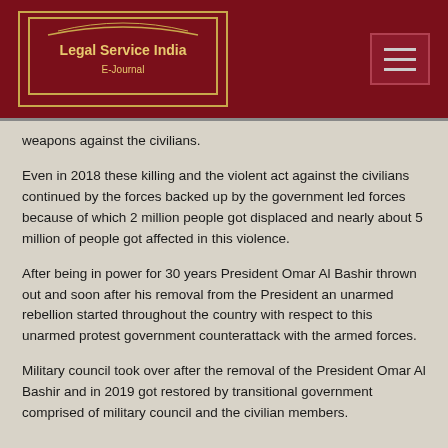Legal Service India E-Journal
weapons against the civilians.
Even in 2018 these killing and the violent act against the civilians continued by the forces backed up by the government led forces because of which 2 million people got displaced and nearly about 5 million of people got affected in this violence.
After being in power for 30 years President Omar Al Bashir thrown out and soon after his removal from the President an unarmed rebellion started throughout the country with respect to this unarmed protest government counterattack with the armed forces.
Military council took over after the removal of the President Omar Al Bashir and in 2019 got restored by transitional government comprised of military council and the civilian members.